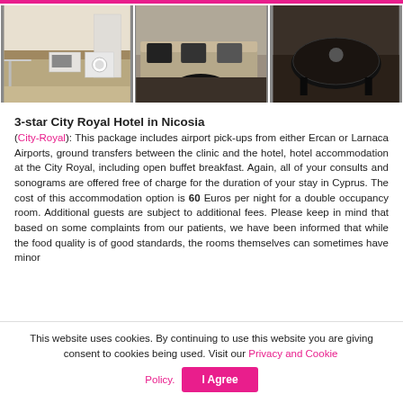[Figure (photo): Three hotel room photos: kitchen/laundry area, living room with sofa, and close-up of coffee table on dark rug]
3-star City Royal Hotel in Nicosia
(City-Royal): This package includes airport pick-ups from either Ercan or Larnaca Airports, ground transfers between the clinic and the hotel, hotel accommodation at the City Royal, including open buffet breakfast. Again, all of your consults and sonograms are offered free of charge for the duration of your stay in Cyprus. The cost of this accommodation option is 60 Euros per night for a double occupancy room. Additional guests are subject to additional fees. Please keep in mind that based on some complaints from our patients, we have been informed that while the food quality is of good standards, the rooms themselves can sometimes have minor
This website uses cookies. By continuing to use this website you are giving consent to cookies being used. Visit our Privacy and Cookie Policy.